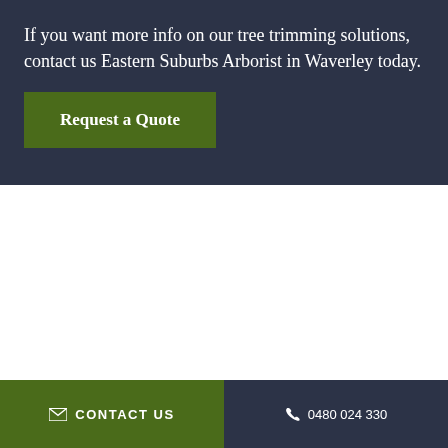If you want more info on our tree trimming solutions, contact us Eastern Suburbs Arborist in Waverley today.
Request a Quote
✉ CONTACT US   ☎ 0480 024 330